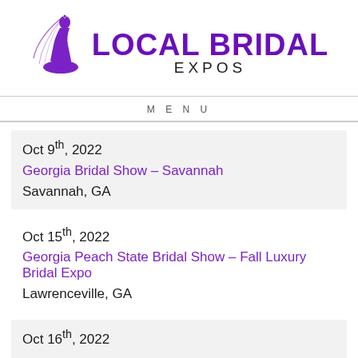[Figure (logo): Local Bridal Expos logo with silhouette of a bride in purple and text 'LOCAL BRIDAL EXPOS']
MENU
Oct 9th, 2022
Georgia Bridal Show – Savannah
Savannah, GA
Oct 15th, 2022
Georgia Peach State Bridal Show – Fall Luxury Bridal Expo
Lawrenceville, GA
Oct 16th, 2022